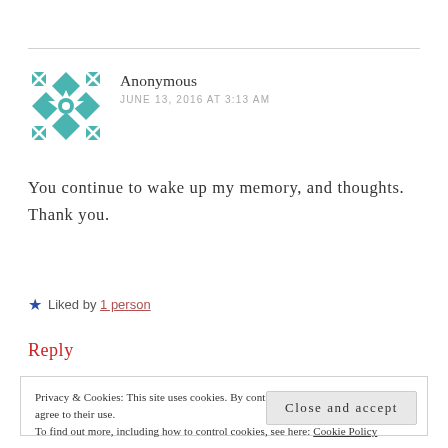[Figure (illustration): Teal/turquoise geometric avatar icon for Anonymous user — square grid of star/diamond shapes in teal and white]
Anonymous
JUNE 13, 2016 AT 3:13 AM
You continue to wake up my memory, and thoughts. Thank you.
Liked by 1 person
Reply
Privacy & Cookies: This site uses cookies. By continuing to use this website, you agree to their use.
To find out more, including how to control cookies, see here: Cookie Policy